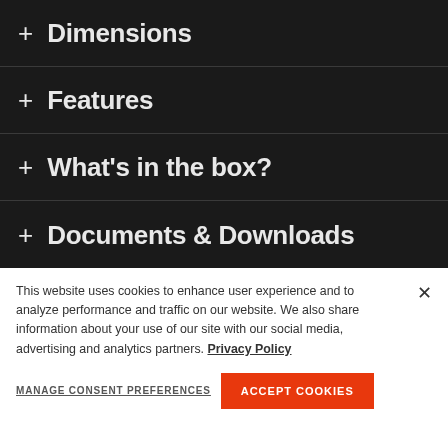+ Dimensions
+ Features
+ What's in the box?
+ Documents & Downloads
This website uses cookies to enhance user experience and to analyze performance and traffic on our website. We also share information about your use of our site with our social media, advertising and analytics partners. Privacy Policy
MANAGE CONSENT PREFERENCES
ACCEPT COOKIES